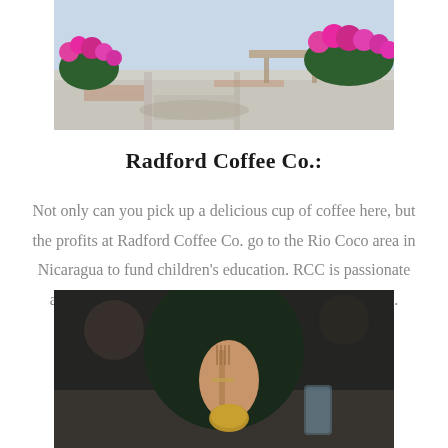[Figure (photo): Outdoor patio or cafe exterior with colorful pink/magenta flowering plants, a table visible, sunny day]
Radford Coffee Co.:
Not only can you pick up a delicious cup of coffee here, but the profits at Radford Coffee Co. go to the Rio Coco area in Nicaragua to fund children's education. RCC is passionate about delicious coffee, great food, and helping others..
[Figure (photo): Woman in dark top eating at a restaurant, holding a fork over food, with a glass visible, blurred background]